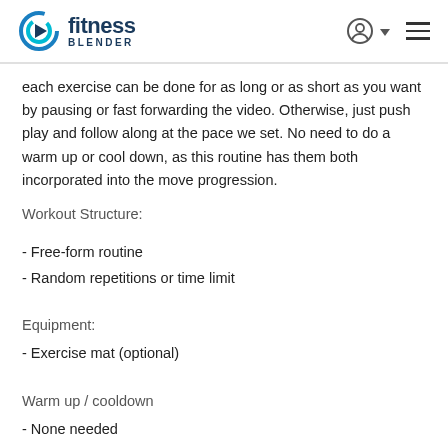fitness blender
each exercise can be done for as long or as short as you want by pausing or fast forwarding the video. Otherwise, just push play and follow along at the pace we set. No need to do a warm up or cool down, as this routine has them both incorporated into the move progression.
Workout Structure:
- Free-form routine
- Random repetitions or time limit
Equipment:
- Exercise mat (optional)
Warm up / cooldown
- None needed